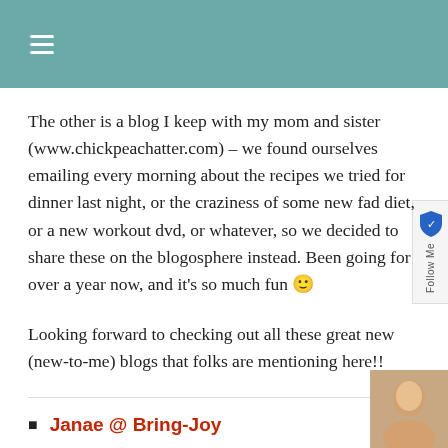☰
The other is a blog I keep with my mom and sister (www.chickpeachatter.com) – we found ourselves emailing every morning about the recipes we tried for dinner last night, or the craziness of some new fad diet, or a new workout dvd, or whatever, so we decided to share these on the blogosphere instead. Been going for over a year now, and it's so much fun 🙂
Looking forward to checking out all these great new (new-to-me) blogs that folks are mentioning here!!
Janae @ Bring-Joy